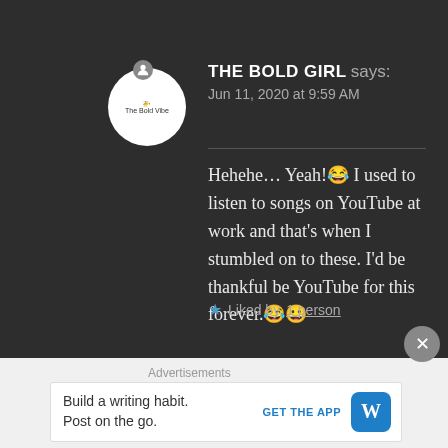THE BOLD GIRL says: Jun 11, 2020 at 9:59 AM
Hehehe… Yeah!😂 I used to listen to songs on YouTube at work and that's when I stumbled on to these. I'd be thankful be YouTube for this forever.😂😀
★ Liked by 1 person
Advertisements
Build a writing habit. Post on the go. GET THE APP